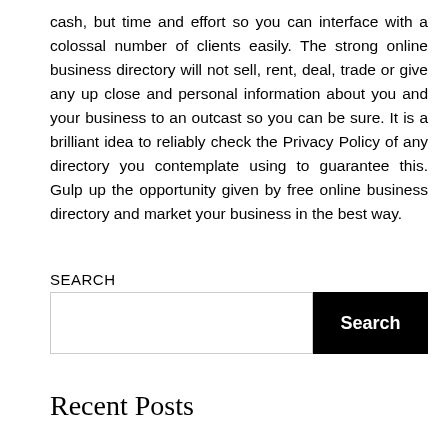cash, but time and effort so you can interface with a colossal number of clients easily. The strong online business directory will not sell, rent, deal, trade or give any up close and personal information about you and your business to an outcast so you can be sure. It is a brilliant idea to reliably check the Privacy Policy of any directory you contemplate using to guarantee this. Gulp up the opportunity given by free online business directory and market your business in the best way.
SEARCH
Recent Posts